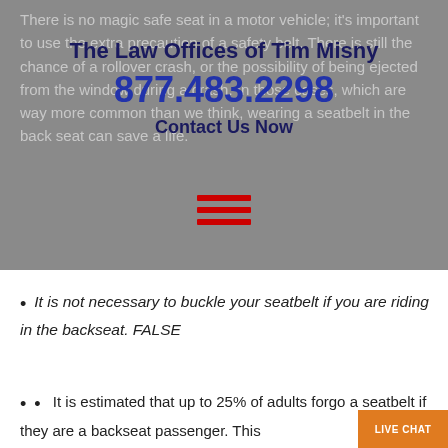There is no magic safe seat in a motor vehicle; it's important to use the extra precaution of a safety belt. There is still the chance of a rollover crash, or the possibility of being ejected from the window during a crash. In those cases, which are way more common than we think, wearing a seatbelt in the back seat can save a life.
The Law Offices of Tim Misny
877.483.2298
Contact Us Now
It is not necessary to buckle your seatbelt if you are riding in the backseat. FALSE
It is estimated that up to 25% of adults forgo a seatbelt if they are a backseat passenger. This